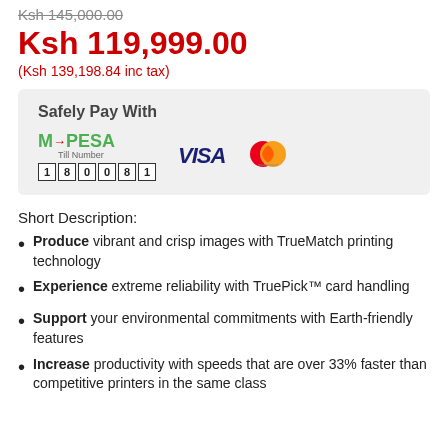Ksh 145,000.00
Ksh 119,999.00
(Ksh 139,198.84 inc tax)
[Figure (other): Payment options box showing M-PESA Till Number 180081, VISA, and Mastercard logos with 'Safely Pay With' heading]
Short Description:
Produce vibrant and crisp images with TrueMatch printing technology
Experience extreme reliability with TruePick™ card handling
Support your environmental commitments with Earth-friendly features
Increase productivity with speeds that are over 33% faster than competitive printers in the same class